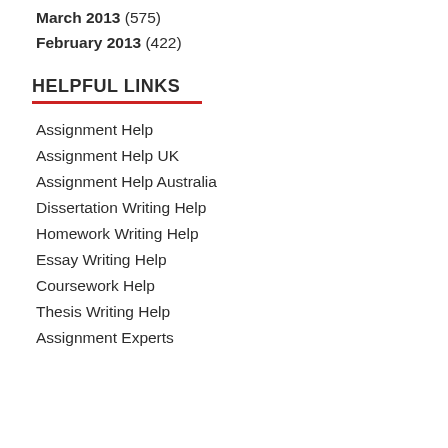March 2013 (575)
February 2013 (422)
HELPFUL LINKS
Assignment Help
Assignment Help UK
Assignment Help Australia
Dissertation Writing Help
Homework Writing Help
Essay Writing Help
Coursework Help
Thesis Writing Help
Assignment Experts